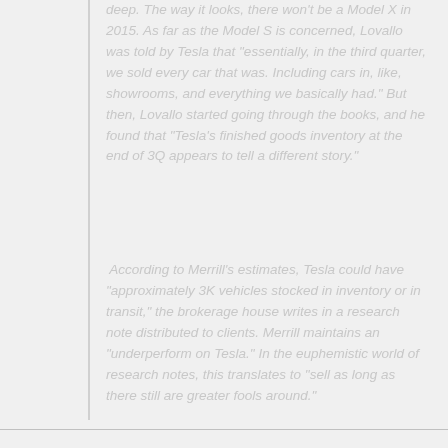deep. The way it looks, there won't be a Model X in 2015. As far as the Model S is concerned, Lovallo was told by Tesla that "essentially, in the third quarter, we sold every car that was. Including cars in, like, showrooms, and everything we basically had." But then, Lovallo started going through the books, and he found that "Tesla's finished goods inventory at the end of 3Q appears to tell a different story."
According to Merrill's estimates, Tesla could have "approximately 3K vehicles stocked in inventory or in transit," the brokerage house writes in a research note distributed to clients. Merrill maintains an "underperform on Tesla." In the euphemistic world of research notes, this translates to "sell as long as there still are greater fools around."